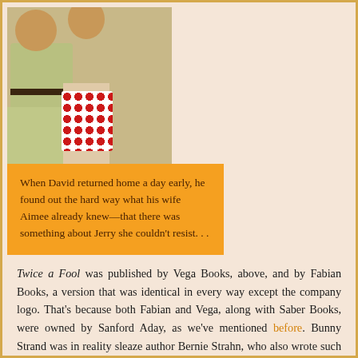[Figure (illustration): Vintage pulp fiction book cover illustration showing a domestic scene with figures. Left panel: a man in light green pants and a woman in a white polka-dot skirt. Right panel: a shirtless man in dark trousers holding a briefcase, standing on a porch. An orange caption box overlays the lower-left of the image.]
When David returned home a day early, he found out the hard way what his wife Aimee already knew—that there was something about Jerry she couldn't resist. . .
Twice a Fool was published by Vega Books, above, and by Fabian Books, a version that was identical in every way except the company logo. That's because both Fabian and Vega, along with Saber Books, were owned by Sanford Aday, as we've mentioned before. Bunny Strand was in reality sleaze author Bernie Strahn, who also wrote such highbrow